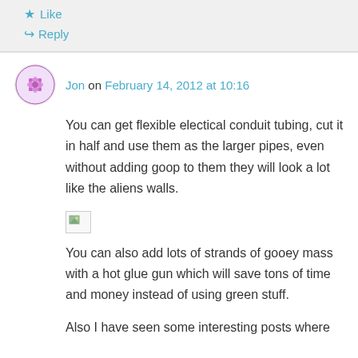Like
Reply
Jon on February 14, 2012 at 10:16
You can get flexible electical conduit tubing, cut it in half and use them as the larger pipes, even without adding goop to them they will look a lot like the aliens walls.
[Figure (photo): Broken image placeholder]
You can also add lots of strands of gooey mass with a hot glue gun which will save tons of time and money instead of using green stuff.
Also I have seen some interesting posts where